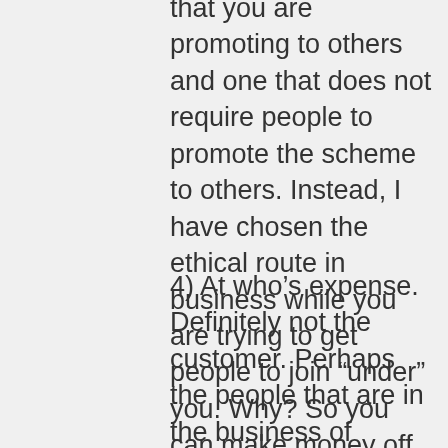that you are promoting to others and one that does not require people to promote the scheme to others. Instead, I have chosen the ethical route in business while you are trying to get people to join “under” you. Why? So you can make money off of people and teach them how to do the same disservice to others.
4) At who’s expense. Definitely not the customer. Perhaps the people that are in the business of ripping other folks off, but that is not who I am here to protect. I am here to help protect the average person that wants to create a business online and I want to offer them a solution to do this. That is definitely not